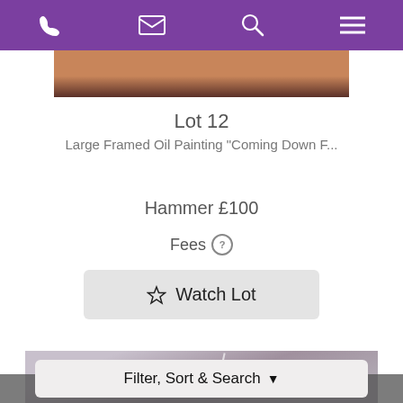Navigation bar with phone, mail, search, menu icons
[Figure (photo): Partial view of a framed oil painting, warm brown/copper tones, partially cut off at top]
Lot 12
Large Framed Oil Painting "Coming Down F..."
Hammer £100
Fees ?
☆ Watch Lot
[Figure (photo): Partial view of another auction lot image, muted grey/purple tones with light streak]
Filter, Sort & Search ▼